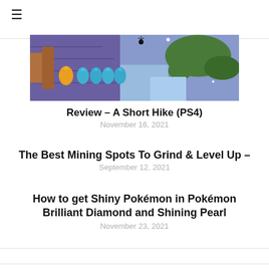≡
[Figure (screenshot): Game screenshot showing colorful items and a purple/blue landscape map]
Review – A Short Hike (PS4)
November 16, 2021
The Best Mining Spots To Grind & Level Up –
September 12, 2021
How to get Shiny Pokémon in Pokémon Brilliant Diamond and Shining Pearl
November 23, 2021